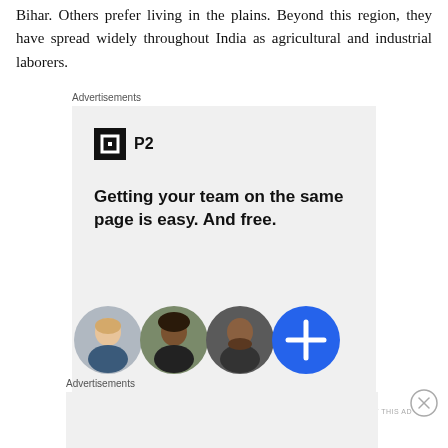Bihar. Others prefer living in the plains. Beyond this region, they have spread widely throughout India as agricultural and industrial laborers.
Advertisements
[Figure (screenshot): P2 advertisement: logo with black square icon and 'P2' text, headline 'Getting your team on the same page is easy. And free.' with three avatar photos and a blue plus button]
REPORT THIS AD
Advertisements
[Figure (screenshot): Second advertisement area, mostly empty gray box with 'REPORT THIS AD' text]